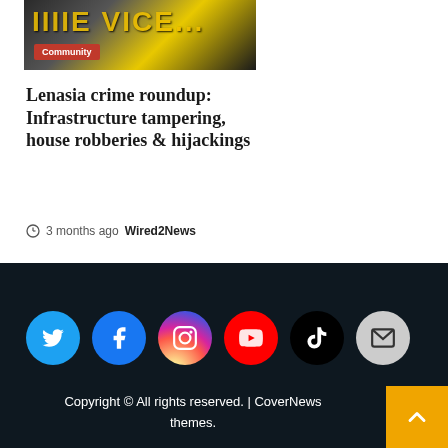[Figure (photo): Crime scene tape with yellow and black colors, dark background, Community badge overlay]
Lenasia crime roundup: Infrastructure tampering, house robberies & hijackings
3 months ago  Wired2News
[Figure (infographic): Footer with social media icons: Twitter, Facebook, Instagram, YouTube, TikTok, Mail]
Copyright © All rights reserved. | CoverNews themes.